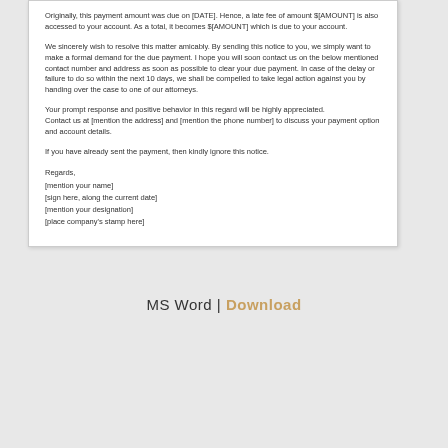Originally, this payment amount was due on [DATE]. Hence, a late fee of amount $[AMOUNT] is also accessed to your account. As a total, it becomes $[AMOUNT] which is due to your account.
We sincerely wish to resolve this matter amicably. By sending this notice to you, we simply want to make a formal demand for the due payment. I hope you will soon contact us on the below mentioned contact number and address as soon as possible to clear your due payment. In case of the delay or failure to do so within the next 10 days, we shall be compelled to take legal action against you by handing over the case to one of our attorneys.
Your prompt response and positive behavior in this regard will be highly appreciated.
Contact us at [mention the address] and [mention the phone number] to discuss your payment option and account details.
If you have already sent the payment, then kindly ignore this notice.
Regards,
[mention your name]
[sign here, along the current date]
[mention your designation]
[place company's stamp here]
MS Word | Download